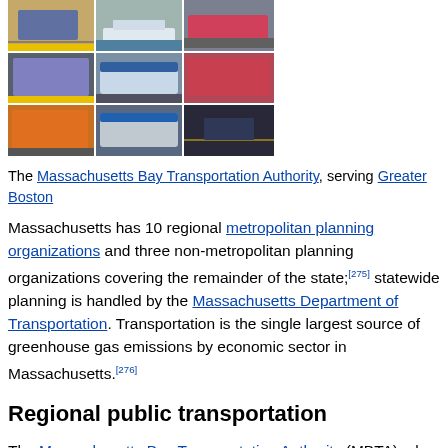[Figure (photo): A 3x3 photo grid showing various MBTA transit modes: subway trains, ferry boat, commuter rail locomotive, trolley/streetcar, bus, and subway station platform.]
The Massachusetts Bay Transportation Authority, serving Greater Boston
Massachusetts has 10 regional metropolitan planning organizations and three non-metropolitan planning organizations covering the remainder of the state;[275] statewide planning is handled by the Massachusetts Department of Transportation. Transportation is the single largest source of greenhouse gas emissions by economic sector in Massachusetts.[276]
Regional public transportation
The Massachusetts Bay Transportation Authority (MBTA), also known as "The T",[277] operates public transportation in the form of subway,[278] bus,[279] and ferry[280] systems in the Metro Boston